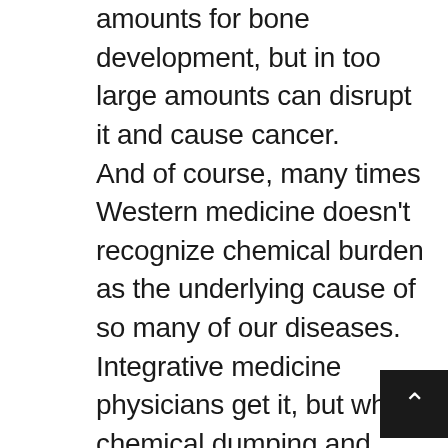amounts for bone development, but in too large amounts can disrupt it and cause cancer. And of course, many times Western medicine doesn't recognize chemical burden as the underlying cause of so many of our diseases. Integrative medicine physicians get it, but when chemical dumping and related disease epidemics are so rarely in the mainstream news, it's difficult to make the public aware of these issues. Perhaps the tide is turning on that score. Last December the Washington Post noted that hexavalent chromium, the carcinogen made famous by the film Erin Brockovich, has been found in the drinking water of 35 cities across the US, including Washington, DC. And last month, the Huffington Post reported